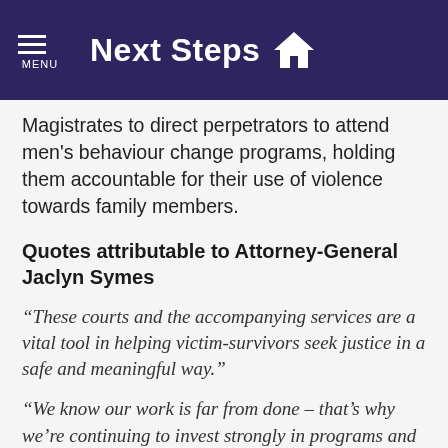Next Steps
Magistrates to direct perpetrators to attend men's behaviour change programs, holding them accountable for their use of violence towards family members.
Quotes attributable to Attorney-General Jaclyn Symes
“These courts and the accompanying services are a vital tool in helping victim-survivors seek justice in a safe and meaningful way.”
“We know our work is far from done – that’s why we’re continuing to invest strongly in programs and services that make the court experience safer and less